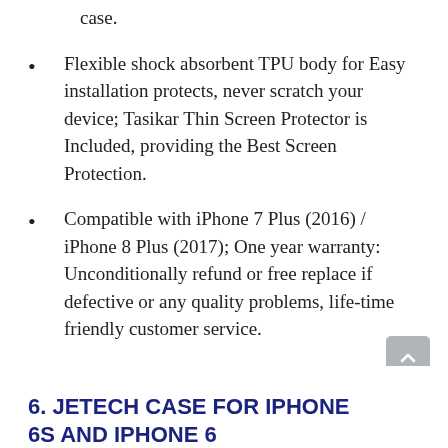case.
Flexible shock absorbent TPU body for Easy installation protects, never scratch your device; Tasikar Thin Screen Protector is Included, providing the Best Screen Protection.
Compatible with iPhone 7 Plus (2016) / iPhone 8 Plus (2017); One year warranty: Unconditionally refund or free replace if defective or any quality problems, life-time friendly customer service.
View on Amazon
6. JETECH CASE FOR IPHONE 6S AND IPHONE 6